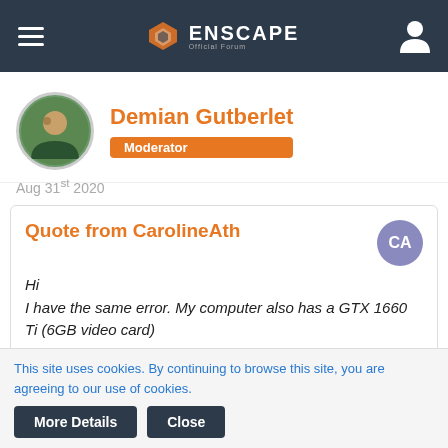Enscape Official Forum header navigation
Demian Gutberlet
Moderator
Aug 31st 2020
Quote from CarolineAth
Hi
I have the same error. My computer also has a GTX 1660 Ti (6GB video card)
By using our website you accept that we use cookies to track usage and improve the relevancy of ads and may
haven't sent one in
This site uses cookies. By continuing to browse this site, you are agreeing to our use of cookies.
More Details
Close